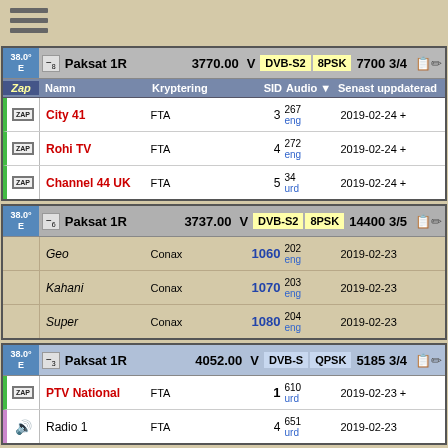[Figure (other): Hamburger menu icon with three horizontal lines]
|  | Paksat 1R | 3770.00 | V | DVB-S2 | 8PSK | 7700 3/4 |  |
| --- | --- | --- | --- | --- | --- | --- | --- |
| ZAP | City 41 | FTA | 3 | 267 eng | 2019-02-24 + |
| ZAP | Rohi TV | FTA | 4 | 272 eng | 2019-02-24 + |
| ZAP | Channel 44 UK | FTA | 5 | 34 urd | 2019-02-24 + |
|  | Paksat 1R | 3737.00 | V | DVB-S2 | 8PSK | 14400 3/5 |  |
| --- | --- | --- | --- | --- | --- | --- | --- |
|  | Geo | Conax | 1060 | 202 eng | 2019-02-23 |
|  | Kahani | Conax | 1070 | 203 eng | 2019-02-23 |
|  | Super | Conax | 1080 | 204 eng | 2019-02-23 |
|  | Paksat 1R | 4052.00 | V | DVB-S | QPSK | 5185 3/4 |  |
| --- | --- | --- | --- | --- | --- | --- | --- |
| ZAP | PTV National | FTA | 1 | 610 urd | 2019-02-23 + |
|  | Radio 1 | FTA | 4 | 651 urd | 2019-02-23 |